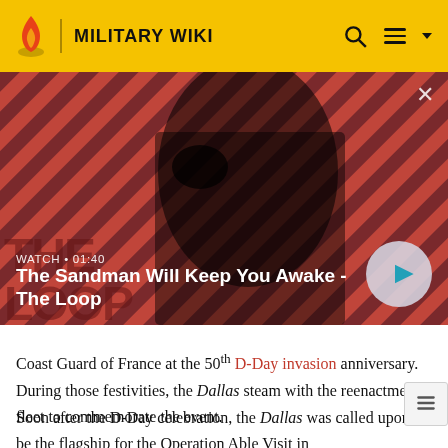MILITARY WIKI
[Figure (screenshot): Video banner showing a dark-clad figure with a raven on his shoulder against a diagonal red and dark stripe background. Text reads WATCH • 01:40 and title The Sandman Will Keep You Awake - The Loop with a play button.]
Coast Guard of France at the 50th D-Day invasion anniversary. During those festivities, the Dallas steam with the reenactment fleet to commemorate the event.
Soon after the D-Day celebration, the Dallas was called upon to be the flagship for the Operation Able Visit in